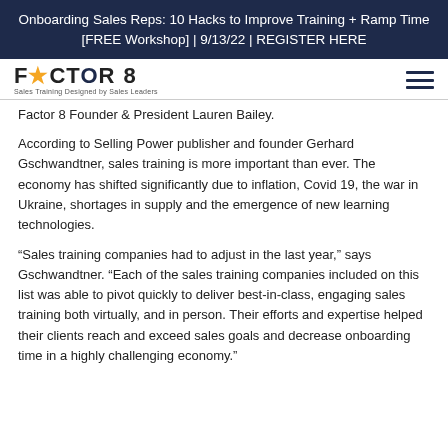Onboarding Sales Reps: 10 Hacks to Improve Training + Ramp Time [FREE Workshop] | 9/13/22 | REGISTER HERE
[Figure (logo): Factor 8 logo with star graphic and tagline 'Sales Training Designed by Sales Leaders']
Factor 8 Founder & President Lauren Bailey.
According to Selling Power publisher and founder Gerhard Gschwandtner, sales training is more important than ever. The economy has shifted significantly due to inflation, Covid 19, the war in Ukraine, shortages in supply and the emergence of new learning technologies.
“Sales training companies had to adjust in the last year,” says Gschwandtner. “Each of the sales training companies included on this list was able to pivot quickly to deliver best-in-class, engaging sales training both virtually, and in person. Their efforts and expertise helped their clients reach and exceed sales goals and decrease onboarding time in a highly challenging economy.”